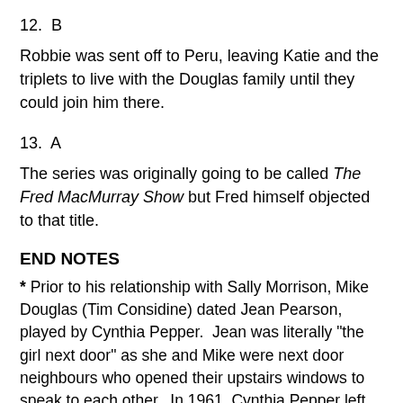12.  B
Robbie was sent off to Peru, leaving Katie and the triplets to live with the Douglas family until they could join him there.
13.  A
The series was originally going to be called The Fred MacMurray Show but Fred himself objected to that title.
END NOTES
* Prior to his relationship with Sally Morrison, Mike Douglas (Tim Considine) dated Jean Pearson, played by Cynthia Pepper.  Jean was literally "the girl next door" as she and Mike were next door neighbours who opened their upstairs windows to speak to each other.  In 1961, Cynthia Pepper left My Three Sons to star in her own show, ABC's Margie.  In 1964, Cynthia made a guest appearance on an episode of My Three Sons entiteled "Goodbye Again (Season 5